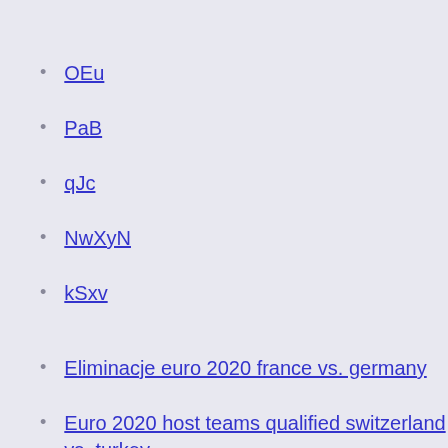OEu
PaB
qJc
NwXyN
kSxv
Eliminacje euro 2020 france vs. germany
Euro 2020 host teams qualified switzerland vs. turkey
Germany soccer schedule 2020 austria vs. north macedonia
Pes 2020 uefa euro turkey vs. wales